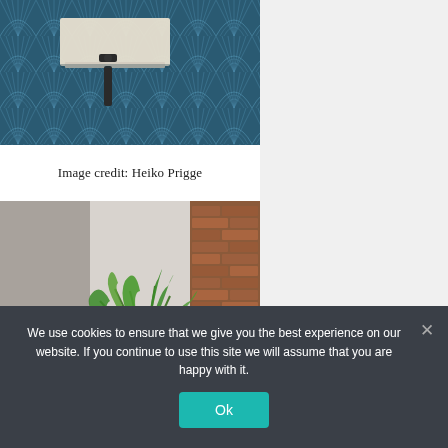[Figure (photo): Bathroom with white rectangular wall-mounted sink against dark navy blue patterned geometric tile wall with Art Deco fan/shell motif, black plumbing fixtures visible]
Image credit: Heiko Prigge
[Figure (photo): Interior room with gray walls, exposed red brick column, and green tropical plant in the foreground]
We use cookies to ensure that we give you the best experience on our website. If you continue to use this site we will assume that you are happy with it.